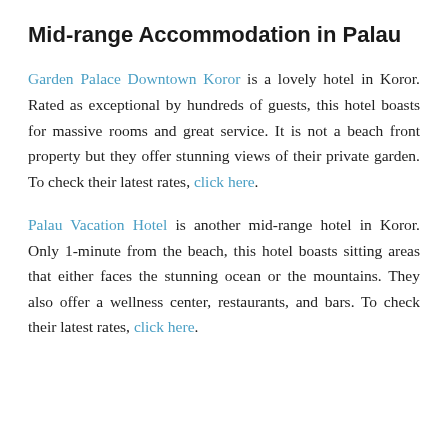Mid-range Accommodation in Palau
Garden Palace Downtown Koror is a lovely hotel in Koror. Rated as exceptional by hundreds of guests, this hotel boasts for massive rooms and great service. It is not a beach front property but they offer stunning views of their private garden. To check their latest rates, click here.
Palau Vacation Hotel is another mid-range hotel in Koror. Only 1-minute from the beach, this hotel boasts sitting areas that either faces the stunning ocean or the mountains. They also offer a wellness center, restaurants, and bars. To check their latest rates, click here.